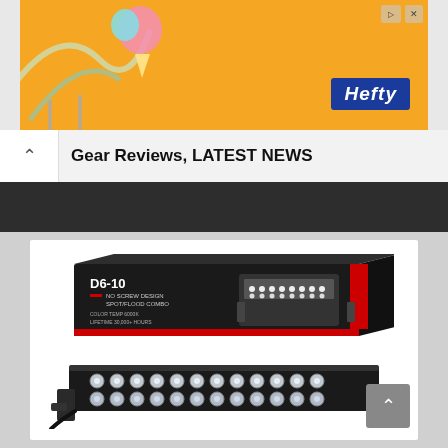[Figure (photo): Hefty brand advertisement banner with orange background, blue Hefty logo, and decorative elements including a colorful cup graphic and curved lines]
Gear Reviews, LATEST NEWS
[Figure (photo): Product photo of D6-10 LED light bar showing black retail box with product name D6-10, specifications text (NO SCREW DESIGN, SPOT/FLOOD COMBO, COLOR TEMP 6000K, LIFETIME 30,000+ HOURS), and the actual LED light bar below the box with dual rows of LED lights]